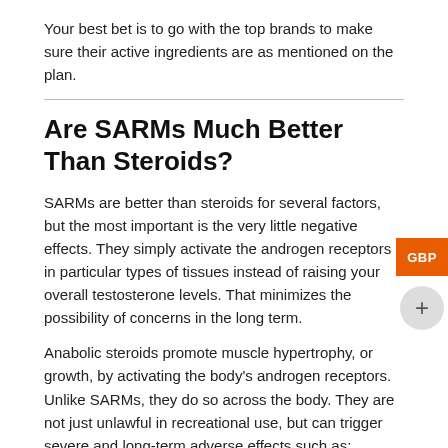Your best bet is to go with the top brands to make sure their active ingredients are as mentioned on the plan.
Are SARMs Much Better Than Steroids?
SARMs are better than steroids for several factors, but the most important is the very little negative effects. They simply activate the androgen receptors in particular types of tissues instead of raising your overall testosterone levels. That minimizes the possibility of concerns in the long term.
Anabolic steroids promote muscle hypertrophy, or growth, by activating the body's androgen receptors. Unlike SARMs, they do so across the body. They are not just unlawful in recreational use, but can trigger severe and long-term adverse effects such as:
Heart problem.
Liver toxicity.
State of mind conditions, aggressive habits, and suicidal